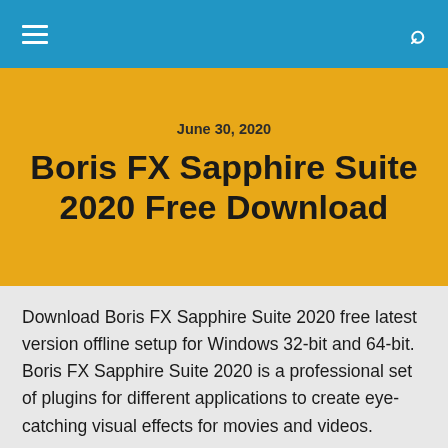≡  🔍
June 30, 2020
Boris FX Sapphire Suite 2020 Free Download
Download Boris FX Sapphire Suite 2020 free latest version offline setup for Windows 32-bit and 64-bit. Boris FX Sapphire Suite 2020 is a professional set of plugins for different applications to create eye-catching visual effects for movies and videos.
Boris FX Sapphire Suite 2020 Over All